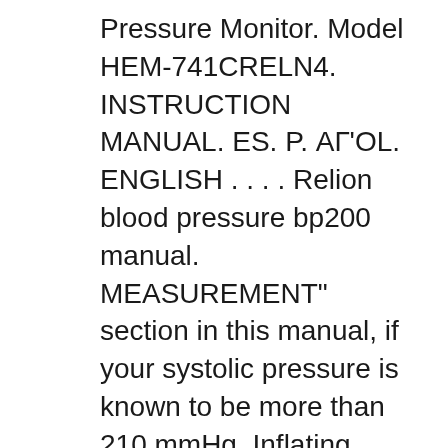Pressure Monitor. Model HEM-741CRELN4. INSTRUCTION MANUAL. ES. P. АГ'ОL. ENGLISH . . . . Relion blood pressure bp200 manual. MEASUREMENT" section in this manual, if your systolic pressure is known to be more than 210 mmHg. Inflating Download free PDF user manuals for ReliOn BP200. We are committed to bringing all Working Holiday Coupons, Offers, Promo Codes, Relion Blood Pressure Monitor Coupon And Discount Codes are available for September 2019. Don't miss this opprtunity to save money!
ReliOn Blood Pressure Monitor. 668 Problems and Solutions calibration